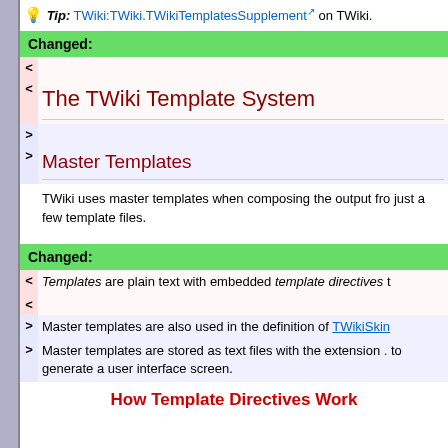Tip: TWiki:TWiki.TWikiTemplatesSupplement on TWiki.
Changed:
< <
The TWiki Template System
> >
Master Templates
TWiki uses master templates when composing the output from just a few template files.
Changed:
< < Templates are plain text with embedded template directives t
> Master templates are also used in the definition of TWikiSkin
> Master templates are stored as text files with the extension . to generate a user interface screen.
How Template Directives Work